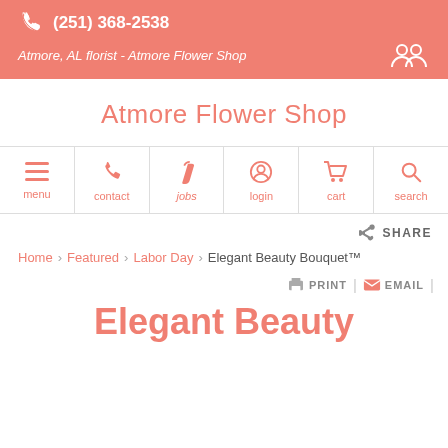(251) 368-2538 | Atmore, AL florist - Atmore Flower Shop
Atmore Flower Shop
menu | contact | jobs | login | cart | search
SHARE
Home > Featured > Labor Day > Elegant Beauty Bouquet™
PRINT | EMAIL
Elegant Beauty